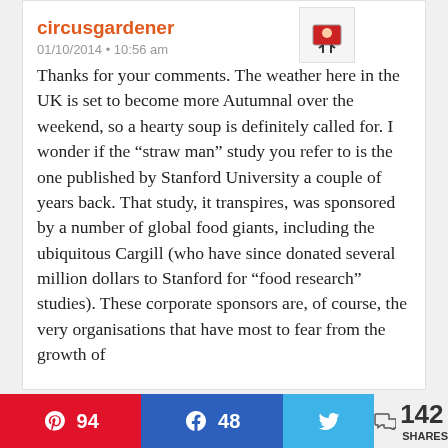circusgardener
01/10/2014 • 10:56 am
Thanks for your comments. The weather here in the UK is set to become more Autumnal over the weekend, so a hearty soup is definitely called for. I wonder if the “straw man” study you refer to is the one published by Stanford University a couple of years back. That study, it transpires, was sponsored by a number of global food giants, including the ubiquitous Cargill (who have since donated several million dollars to Stanford for “food research” studies). These corporate sponsors are, of course, the very organisations that have most to fear from the growth of
94  48  142 SHARES